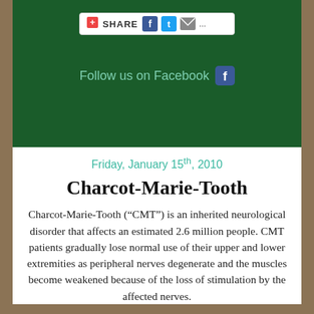[Figure (screenshot): Share bar with Facebook, Twitter, and email icons on dark green background]
Follow us on Facebook
Friday, January 15th, 2010
Charcot-Marie-Tooth
Charcot-Marie-Tooth (“CMT”) is an inherited neurological disorder that affects an estimated 2.6 million people. CMT patients gradually lose normal use of their upper and lower extremities as peripheral nerves degenerate and the muscles become weakened because of the loss of stimulation by the affected nerves.